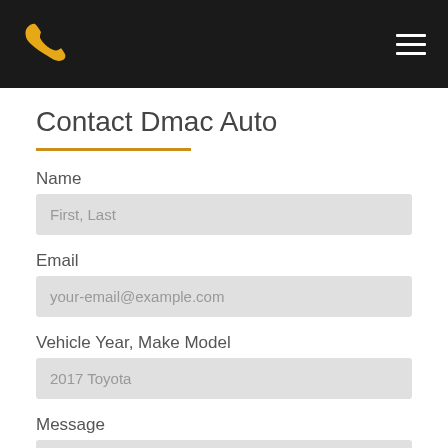Phone icon and hamburger menu on dark bar
Contact Dmac Auto
Name
First, Last
Email
your-email@example.com
Vehicle Year, Make Model
2017 Toyota
Message
How Can We Help?